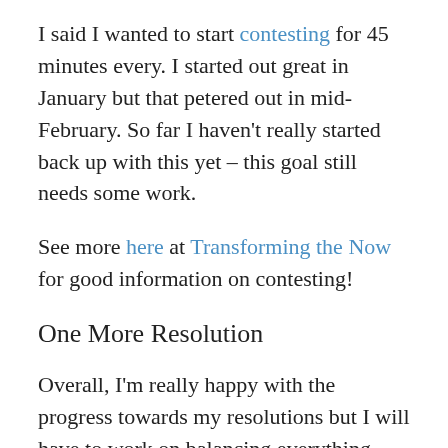I said I wanted to start contesting for 45 minutes every. I started out great in January but that petered out in mid-February. So far I haven't really started back up with this yet – this goal still needs some work.
See more here at Transforming the Now for good information on contesting!
One More Resolution
Overall, I'm really happy with the progress towards my resolutions but I will have to work on balancing everything with my family life. I'm now struggling to be at home without being behind a computer screen or a book; or out at a mystery shop or